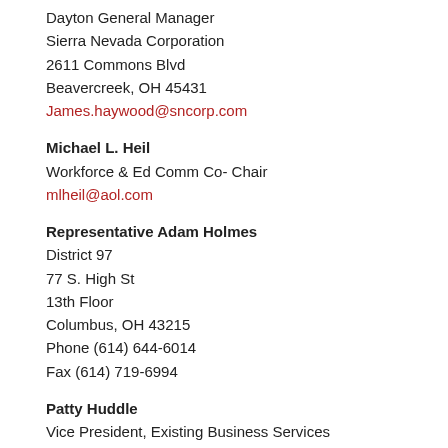Dayton General Manager
Sierra Nevada Corporation
2611 Commons Blvd
Beavercreek, OH 45431
James.haywood@sncorp.com
Michael L. Heil
Workforce & Ed Comm Co- Chair
mlheil@aol.com
Representative Adam Holmes
District 97
77 S. High St
13th Floor
Columbus, OH 43215
Phone (614) 644-6014
Fax (614) 719-6994
Patty Huddle
Vice President, Existing Business Services
Columbus Chamber/Columbus 2020
150 South Front Street, Suite 200